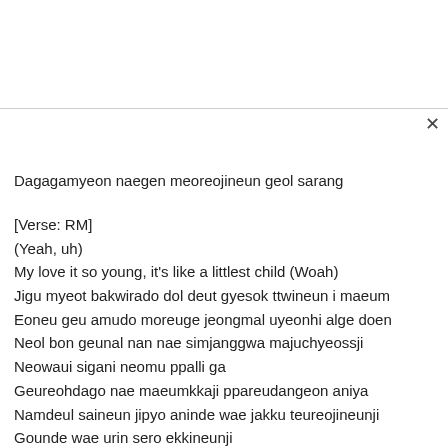Dagagamyeon naegen meoreojineun geol sarang
[Verse: RM]
(Yeah, uh)
My love it so young, it's like a littlest child (Woah)
Jigu myeot bakwirado dol deut gyesok ttwineun i maeum
Eoneu geu amudo moreuge jeongmal uyeonhi alge doen
Neol bon geunal nan nae simjanggwa majuchyeossji
Neowaui sigani neomu ppalli ga
Geureohdago nae maeumkkaji ppareudangeon aniya
Namdeul saineun jipyo aninde wae jakku teureojineunji
Gounde wae urin sero ekkineunji